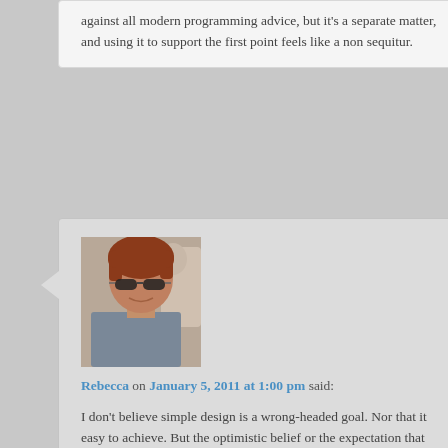against all modern programming advice, but it's a separate matter, and using it to support the first point feels like a non sequitur.
[Figure (photo): Avatar photo of Rebecca, a woman with short reddish-brown hair and sunglasses]
Rebecca on January 5, 2011 at 1:00 pm said:
I don't believe simple design is a wrong-headed goal. Nor that it easy to achieve. But the optimistic belief or the expectation that simple designs are always acheivable in a relatively short timeframe can cause problems.
Just to be clear…I claim that an overemphasis on simple design as a goal may lead you into a tail spin of design fretting if you don't have a strong value of making code work….or, it may lead you to